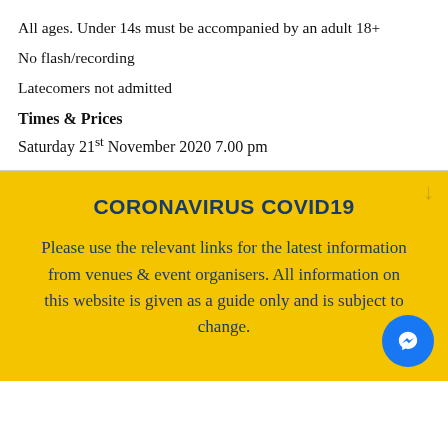All ages. Under 14s must be accompanied by an adult 18+
No flash/recording
Latecomers not admitted
Times & Prices
Saturday 21st November 2020 7.00 pm
CORONAVIRUS COVID19
Please use the relevant links for the latest information from venues & event organisers. All information on this website is given as a guide only and is subject to change.